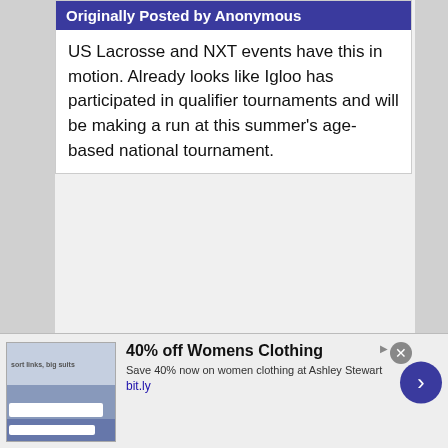Originally Posted by Anonymous
US Lacrosse and NXT events have this in motion. Already looks like Igloo has participated in qualifier tournaments and will be making a run at this summer’s age-based national tournament.
It’s in August in Delaware and its U12, U13, U14.

https://www.uslacrossenationals.com/qualification-events-and-scoring
There is not one NY-based event for boys (and only for girls and that is in Lake George), which
[Figure (screenshot): Advertisement banner: 40% off Womens Clothing at Ashley Stewart. Save 40% now on women clothing at Ashley Stewart. bit.ly]